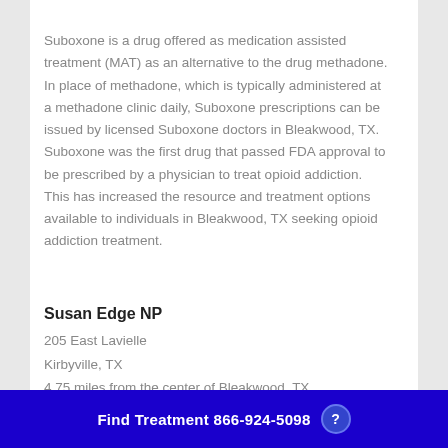Suboxone is a drug offered as medication assisted treatment (MAT) as an alternative to the drug methadone. In place of methadone, which is typically administered at a methadone clinic daily, Suboxone prescriptions can be issued by licensed Suboxone doctors in Bleakwood, TX. Suboxone was the first drug that passed FDA approval to be prescribed by a physician to treat opioid addiction. This has increased the resource and treatment options available to individuals in Bleakwood, TX seeking opioid addiction treatment.
Susan Edge NP
205 East Lavielle
Kirbyville, TX
4.75 miles from the center of Bleakwood, TX
Find Treatment 866-924-5098